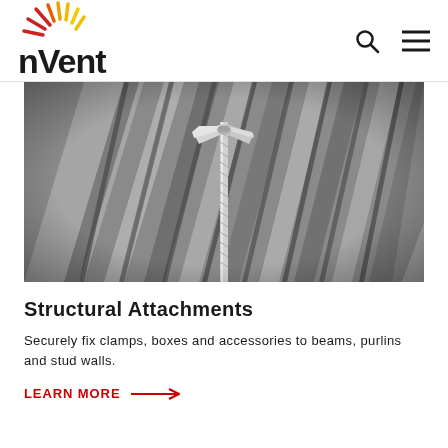[Figure (logo): nVent logo with sunburst/starburst icon in red, orange, and yellow above text reading 'nVent']
[Figure (photo): Close-up photograph of a structural attachment — a metal threaded rod and clamp/bracket mounted to diagonal corrugated metal beams or purlins, viewed from below, in grayscale]
Structural Attachments
Securely fix clamps, boxes and accessories to beams, purlins and stud walls.
LEARN MORE →